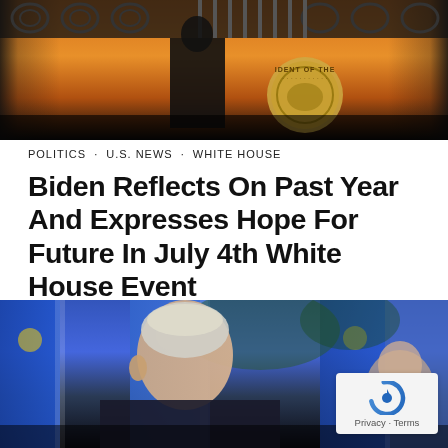[Figure (photo): Top photo showing a person at a podium with a presidential seal, iron fence decorative scrollwork in the background, orange/warm toned lighting]
POLITICS  U.S. NEWS  WHITE HOUSE
Biden Reflects On Past Year And Expresses Hope For Future In July 4th White House Event
Biden reflected where the country was a year ago and praised the country for getting the virus under control by getting shots in their arms.
BY  STEPHEN MICHAEL
[Figure (photo): Bottom photo showing Biden from behind with blue flags and a woman partially visible, with a reCAPTCHA/Privacy-Terms badge overlay in bottom right corner]